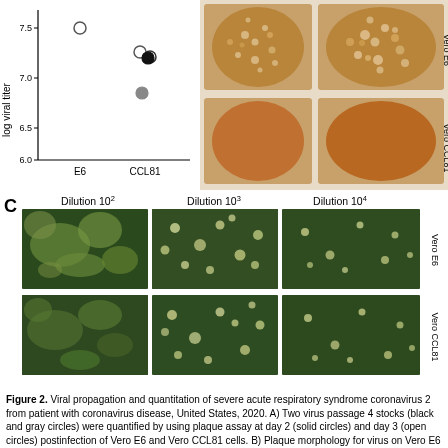[Figure (scatter-plot): Scatter plot showing log viral titer for Vero E6 and Vero CCL81 cells. Points at E6 near 7.5 (open circle) and CCL81 showing two open circles ~7.25 and ~7.2, one solid black ~7.2, one solid gray ~6.85.]
[Figure (photo): Plaque morphology photos: 2x2 grid showing Vero E6 (top row) and Vero CCL81 (bottom row) at day 2 and day 3. Orange/brown colored plates with visible plaques on E6 rows.]
[Figure (photo): Panel C: 2x3 grid of microscopy images showing Vero E6 (top row) and Vero CCL81 (bottom row) at dilutions 10^2, 10^3, and 10^4. Green-tinted cell monolayer images with cytopathic effects visible at lower dilutions.]
Figure 2. Viral propagation and quantitation of severe acute respiratory syndrome coronavirus 2 from patient with coronavirus disease, United States, 2020. A) Two virus passage 4 stocks (black and gray circles) were quantified by using plaque assay at day 2 (solid circles) and day 3 (open circles) postinfection of Vero E6 and Vero CCL81 cells. B) Plaque morphology for virus on Vero E6 and Vero CCL81 at day 2 and day 3